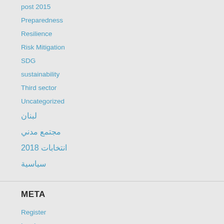post 2015
Preparedness
Resilience
Risk Mitigation
SDG
sustainability
Third sector
Uncategorized
لبنان
مجتمع مدني
انتخابات 2018
سياسية
META
Register
Log in
Entries feed
Comments feed
WordPress.com